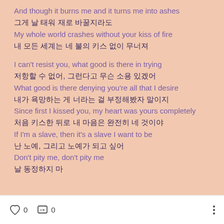And though it burns me and it turns me into ashes
그게 날 태워 재로 바꿀지라도
My whole world crashes without your kiss of fire
내 모든 세계는 네 불의 키스 없이 무너져

I can't resist you, what good is there in trying
저항할 수 없어, 그런다고 무슨 소용 있겠어
What good is there denying you're all that I desire
내가 욕망하는 게 너라는 걸 부정해봤자 말이지
Since first I kissed you, my heart was yours completely
처음 키스한 뒤로 내 마음은 완전히 네 것이야
If I'm a slave, then it's a slave I want to be
난 노예, 그리고 노예가 되고 싶어
Don't pity me, don't pity me
날 동정하지 마